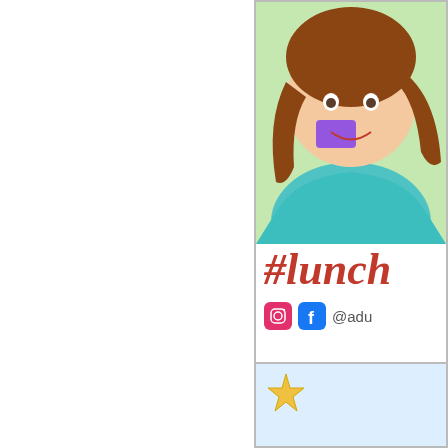[Figure (illustration): Cropped illustration panel on the right side showing a cartoon character with brown hair and teal/green outfit, with hashtag #lunch text in red italic below, and social media icons with @adu handle]
We received 2 Harry & David boxes f... Assembling the crackers, meats, and...
↓ Read the rest of this entry…
Tags: fancypants, gift, lunch, lunchables,
Fall Fairy vs. COVID-19
By L.C. Stein on January 10, 2021 at 11:38
Chapter: New Year 2021
Characters: Fairy Christmas, Fall Fairy, Win...
Location: Fantasy Land
[Figure (illustration): Bottom right partial illustration panel with a star/badge shape visible]